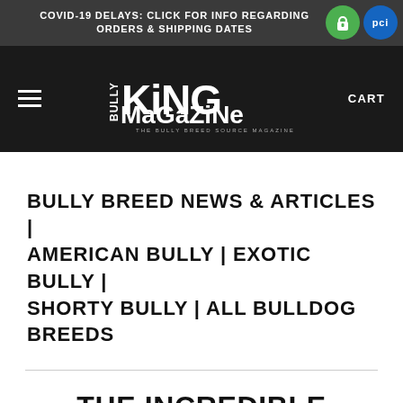COVID-19 DELAYS: CLICK FOR INFO REGARDING ORDERS & SHIPPING DATES
[Figure (logo): Bully King Magazine logo — stylized text reading 'BULLY KING MAGAZINE — THE BULLY BREED SOURCE — MAGAZINE & DIGITAL APP' in white on a dark background, with hamburger menu icon on the left and CART label on the right]
BULLY BREED NEWS & ARTICLES | AMERICAN BULLY | EXOTIC BULLY | SHORTY BULLY | ALL BULLDOG BREEDS
THE INCREDIBLE STORY OF BAILEY & HIS AMERICAN